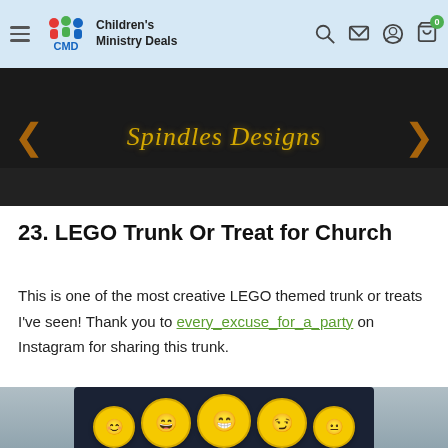Children's Ministry Deals
[Figure (photo): Car trunk decorated with 'Spindles Designs' text in gold cursive on a dark background with orange arrow decorations]
23. LEGO Trunk Or Treat for Church
This is one of the most creative LEGO themed trunk or treats I've seen! Thank you to every_excuse_for_a_party on Instagram for sharing this trunk.
[Figure (photo): Car trunk open showing several large yellow emoji smiley face balloons arranged inside, with a grey building in the background]